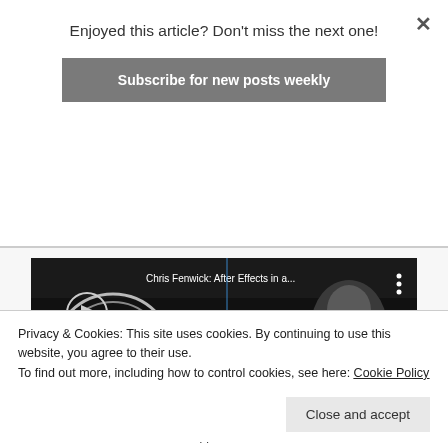Enjoyed this article? Don't miss the next one!
Subscribe for new posts weekly
[Figure (screenshot): YouTube video thumbnail: Chris Fenwick: After Effects in a... with LumaForge logo, Faster, Together., /// STAGE 2018 ///, and red YouTube play button. Speaker visible on right.]
Privacy & Cookies: This site uses cookies. By continuing to use this website, you agree to their use.
To find out more, including how to control cookies, see here: Cookie Policy
Close and accept
Effects with FCPX rather than Apple's Motion.
ns